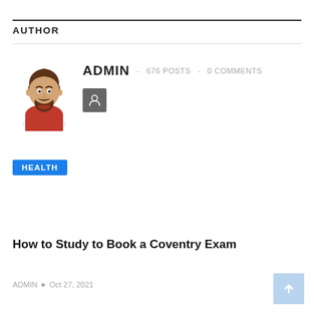AUTHOR
[Figure (illustration): Cartoon avatar of a man with dark hair and beard wearing a red sweater]
ADMIN · 676 POSTS · 0 COMMENTS
[Figure (other): Small dark square icon button with a person/profile icon]
HEALTH
How to Study to Book a Coventry Exam
ADMIN • Oct 27, 2021